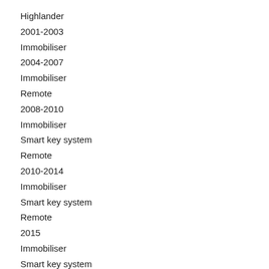Highlander
2001-2003
Immobiliser
2004-2007
Immobiliser
Remote
2008-2010
Immobiliser
Smart key system
Remote
2010-2014
Immobiliser
Smart key system
Remote
2015
Immobiliser
Smart key system
Remote
Highlander LE
2007
Smart key system
2008-2014